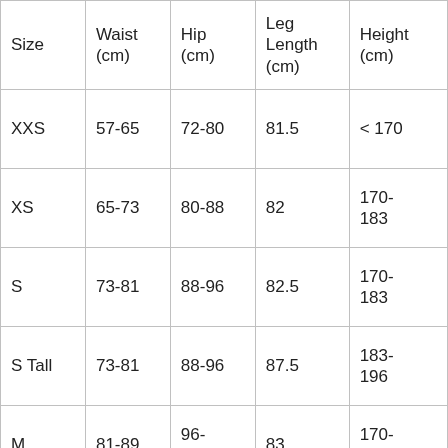| Size | Waist (cm) | Hip (cm) | Leg Length (cm) | Height (cm) |
| --- | --- | --- | --- | --- |
| XXS | 57-65 | 72-80 | 81.5 | < 170 |
| XS | 65-73 | 80-88 | 82 | 170-183 |
| S | 73-81 | 88-96 | 82.5 | 170-183 |
| S Tall | 73-81 | 88-96 | 87.5 | 183-196 |
| M | 81-89 | 96-104 | 83 | 170-183 |
| M |  | 96- |  | 183- |